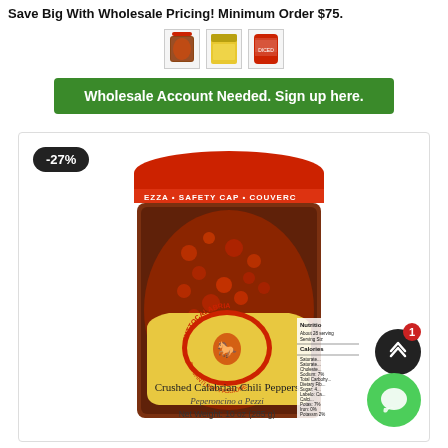Save Big With Wholesale Pricing! Minimum Order $75.
[Figure (photo): Three small product thumbnail images: a jar, a yellow box, and a red can]
Wholesale Account Needed. Sign up here.
[Figure (photo): Tutto Calabria Crushed Calabrian Chili Peppers jar, 10 oz (285g), with red safety cap lid and yellow label reading PICCANTI PER PASSIONE, showing Crushed Calabrian Chili Peppers / Peperoncino a Pezzi / Net Weight: 10 oz (285 g). A -27% discount badge is shown in the top left corner.]